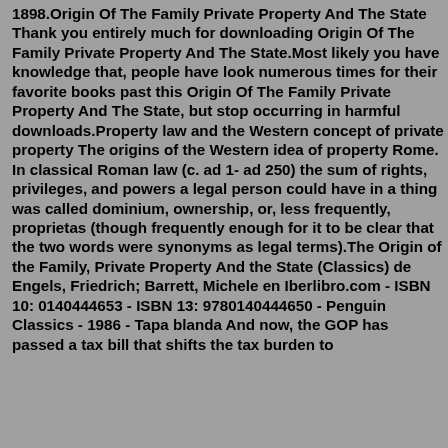1898.Origin Of The Family Private Property And The State Thank you entirely much for downloading Origin Of The Family Private Property And The State.Most likely you have knowledge that, people have look numerous times for their favorite books past this Origin Of The Family Private Property And The State, but stop occurring in harmful downloads.Property law and the Western concept of private property The origins of the Western idea of property Rome. In classical Roman law (c. ad 1- ad 250) the sum of rights, privileges, and powers a legal person could have in a thing was called dominium, ownership, or, less frequently, proprietas (though frequently enough for it to be clear that the two words were synonyms as legal terms).The Origin of the Family, Private Property And the State (Classics) de Engels, Friedrich; Barrett, Michele en Iberlibro.com - ISBN 10: 0140444653 - ISBN 13: 9780140444650 - Penguin Classics - 1986 - Tapa blanda And now, the GOP has passed a tax bill that shifts the tax burden to